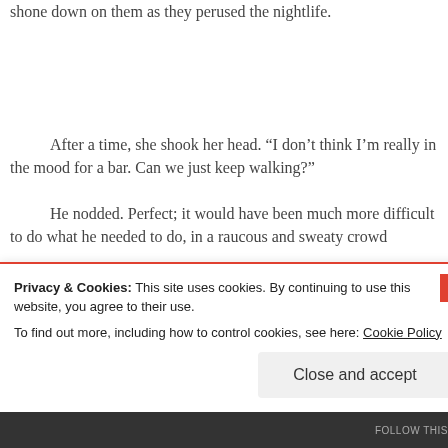shone down on them as they perused the nightlife.
After a time, she shook her head. “I don’t think I’m really in the mood for a bar. Can we just keep walking?”
He nodded. Perfect; it would have been much more difficult to do what he needed to do, in a raucous and sweaty crowd
Privacy & Cookies: This site uses cookies. By continuing to use this website, you agree to their use.
To find out more, including how to control cookies, see here: Cookie Policy
Close and accept